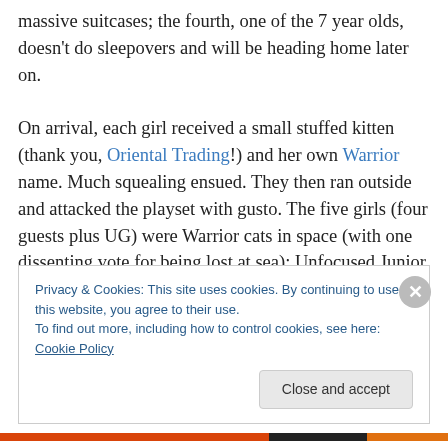massive suitcases; the fourth, one of the 7 year olds, doesn't do sleepovers and will be heading home later on.

On arrival, each girl received a small stuffed kitten (thank you, Oriental Trading!) and her own Warrior name. Much squealing ensued. They then ran outside and attacked the playset with gusto. The five girls (four guests plus UG) were Warrior cats in space (with one dissenting vote for being lost at sea); Unfocused Junior started out as Speed Racer but, as predicated, quickly changed into his Superman costume (a blue sweatshirt with a red dishtowel
Privacy & Cookies: This site uses cookies. By continuing to use this website, you agree to their use.
To find out more, including how to control cookies, see here: Cookie Policy